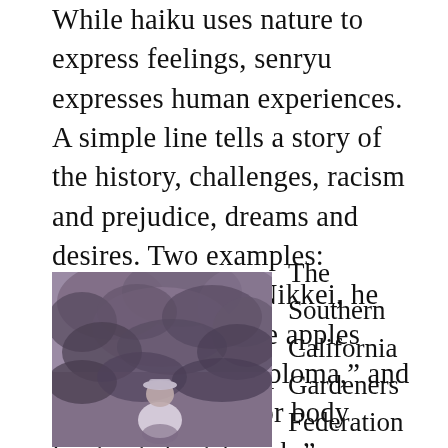While haiku uses nature to express feelings, senryu expresses human experiences. A simple line tells a story of the history, challenges, racism and prejudice, dreams and desires. Two examples: “Because he was Nikkei, he was forced to shine apples with his college diploma,” and “We use gestures or body language to get a job.”
[Figure (photo): Black and white vintage photograph of a person wearing a hat, sitting outdoors among trees and foliage.]
The Southern California Gardeners Federation published three books since 1960: